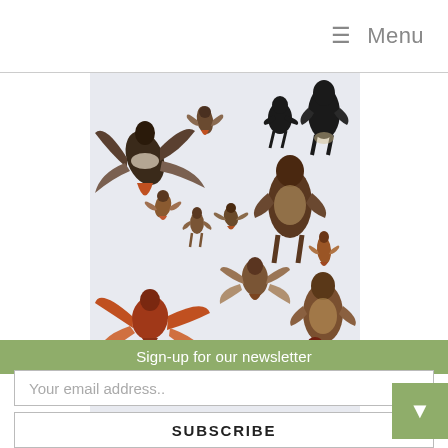≡ Menu
[Figure (illustration): Field guide style illustration showing multiple birds of prey (hawks, buzzards, eagles) in various poses — perched and in flight — on a light grey background. Birds shown include large dark soaring raptors, red-tailed hawks showing rufous tail, small falcons, and perched brown buzzards.]
Sign-up for our newsletter
Your email address..
SUBSCRIBE